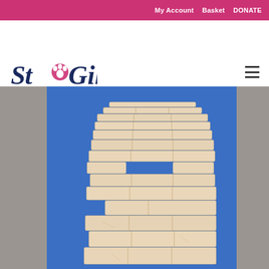My Account   Basket   DONATE
[Figure (logo): St Giles Animal Centre Rescue logo with paw print icon in navy blue and pink]
[Figure (photo): Giant Jenga wooden block tower stacked tall on a blue background, natural wood color blocks]